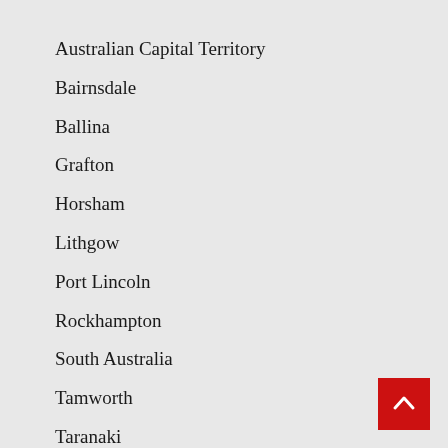Australian Capital Territory
Bairnsdale
Ballina
Grafton
Horsham
Lithgow
Port Lincoln
Rockhampton
South Australia
Tamworth
Taranaki
Uncategorized